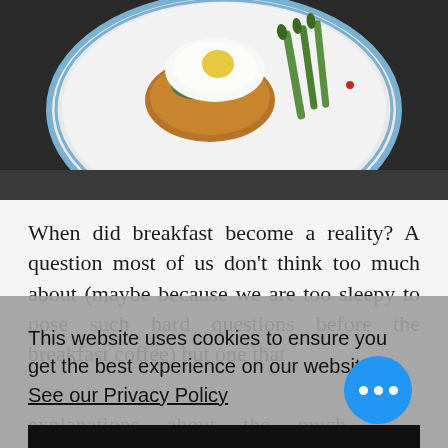[Figure (photo): Top-down photo of a plate with a poached egg on toast with green vegetables (asparagus, greens) on a white plate with blue rim, on a dark background]
When did breakfast become a reality? A question most of us don't think too much about (maybe because we are too sleepy to pose such hard questions before the breakfast coffee) but one that
This website uses cookies to ensure you get the best experience on our website.  See our Privacy Policy
OK
explanations about the much